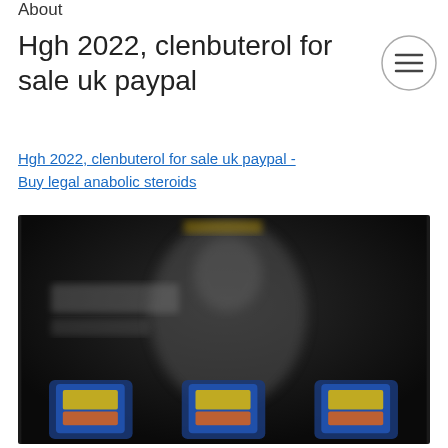About
Hgh 2022, clenbuterol for sale uk paypal
Hgh 2022, clenbuterol for sale uk paypal - Buy legal anabolic steroids
[Figure (photo): Blurred dark promotional image showing what appears to be bodybuilding or supplement products with colorful packaging at the bottom]